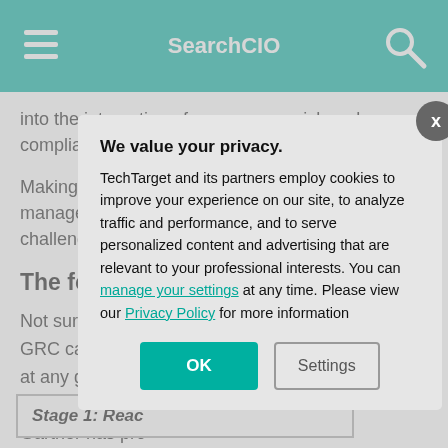SearchCIO
into the integration of governance, risk and compliance." KPMG, 2012.
Making a business value case for risk management versus focusing on cost is challenging but when has it not been? And th...
The four stag...
Not surprisingly, GRC capabilities at any given poi... and benefit com... Gartner has pro... maturity model,...
Stage 1: Reac...
We value your privacy. TechTarget and its partners employ cookies to improve your experience on our site, to analyze traffic and performance, and to serve personalized content and advertising that are relevant to your professional interests. You can manage your settings at any time. Please view our Privacy Policy for more information